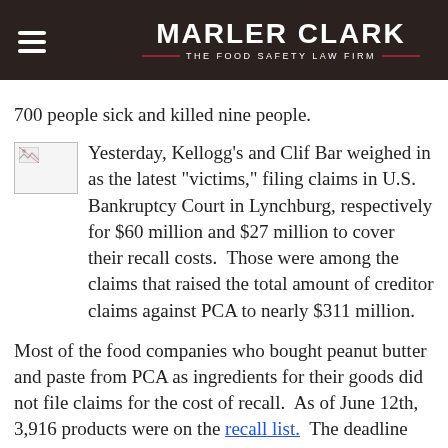MARLER CLARK — THE FOOD SAFETY LAW FIRM
700 people sick and killed nine people.
Yesterday, Kellogg's and Clif Bar weighed in as the latest "victims," filing claims in U.S. Bankruptcy Court in Lynchburg, respectively for $60 million and $27 million to cover their recall costs.  Those were among the claims that raised the total amount of creditor claims against PCA to nearly $311 million.
Most of the food companies who bought peanut butter and paste from PCA as ingredients for their goods did not file claims for the cost of recall.  As of June 12th, 3,916 products were on the recall list.  The deadline for [continues]